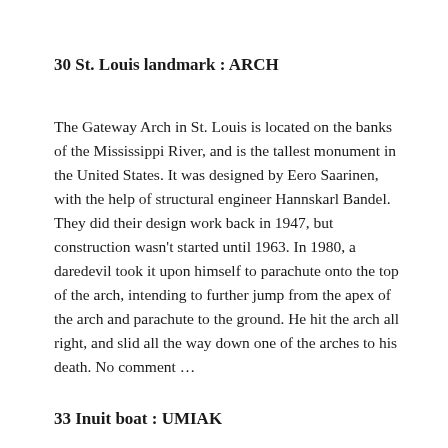30 St. Louis landmark : ARCH
The Gateway Arch in St. Louis is located on the banks of the Mississippi River, and is the tallest monument in the United States. It was designed by Eero Saarinen, with the help of structural engineer Hannskarl Bandel. They did their design work back in 1947, but construction wasn't started until 1963. In 1980, a daredevil took it upon himself to parachute onto the top of the arch, intending to further jump from the apex of the arch and parachute to the ground. He hit the arch all right, and slid all the way down one of the arches to his death. No comment …
33 Inuit boat : UMIAK